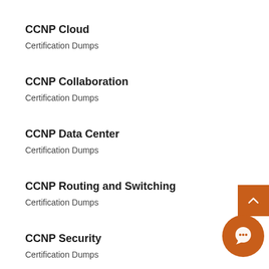CCNP Cloud
Certification Dumps
CCNP Collaboration
Certification Dumps
CCNP Data Center
Certification Dumps
CCNP Routing and Switching
Certification Dumps
CCNP Security
Certification Dumps